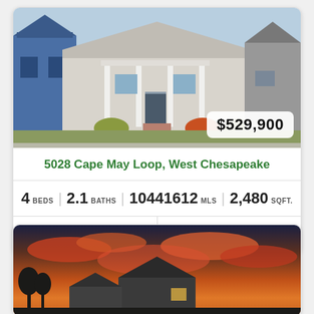[Figure (photo): Exterior photo of a light gray craftsman-style house with white columns on the front porch, brick walkway, and landscaping. Price badge shows $529,900.]
5028 Cape May Loop, West Chesapeake
4 BEDS   2.1 BATHS   10441612 MLS   2,480 SQFT.
Add to Favorites   Request Info
[Figure (photo): Exterior photo of a gray house at sunset with dramatic orange and red sky.]